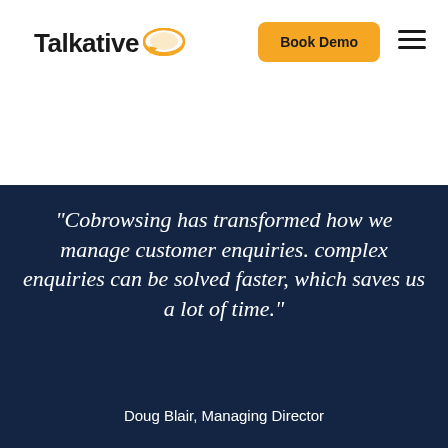[Figure (logo): Talkative logo with speech bubble cloud icon in orange]
Book Demo
“Cobrowsing has transformed how we manage customer enquiries. complex enquiries can be solved faster, which saves us a lot of time."
Doug Blair, Managing Director